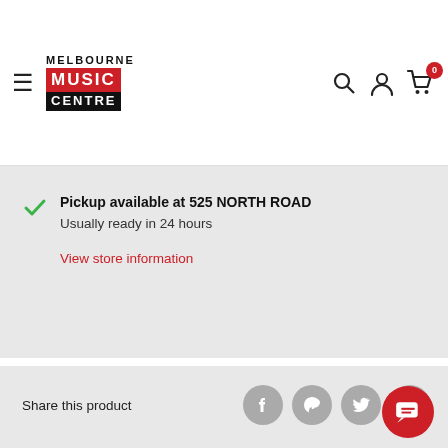Melbourne Music Centre – navigation header with hamburger menu, logo, search, account, and cart icons
Pickup available at 525 NORTH ROAD
Usually ready in 24 hours
View store information
Share this product
Description
JIM DUNLOP .88 mm NYLON 12 PICK PACK GREY
Dunlop Guitar Picks Pack Nylon Standard Qty 12